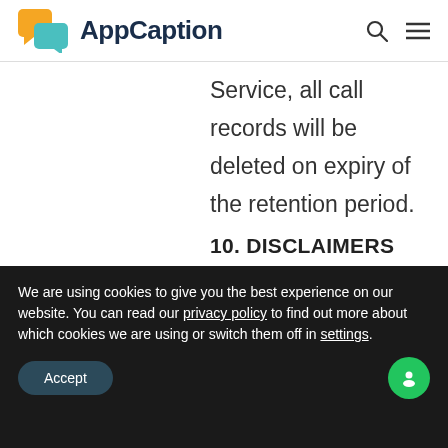AppCaption
Service, all call records will be deleted on expiry of the retention period.
10. DISCLAIMERS
We are using cookies to give you the best experience on our website. You can read our privacy policy to find out more about which cookies we are using or switch them off in settings.